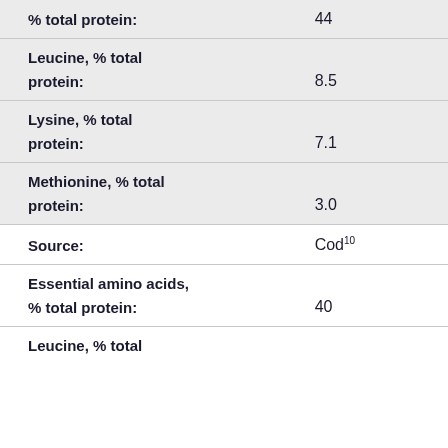| Property | Value |
| --- | --- |
| % total protein: | 44 |
| Leucine, % total protein: | 8.5 |
| Lysine, % total protein: | 7.1 |
| Methionine, % total protein: | 3.0 |
| Source: | Cod10 |
| Essential amino acids, % total protein: | 40 |
| Leucine, % total |  |